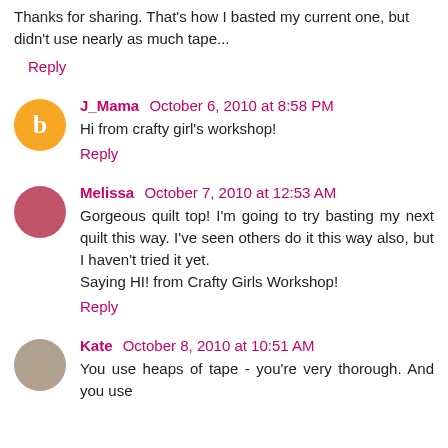Thanks for sharing. That's how I basted my current one, but didn't use nearly as much tape...
Reply
J_Mama  October 6, 2010 at 8:58 PM
Hi from crafty girl's workshop!
Reply
Melissa  October 7, 2010 at 12:53 AM
Gorgeous quilt top! I'm going to try basting my next quilt this way. I've seen others do it this way also, but I haven't tried it yet.
Saying HI! from Crafty Girls Workshop!
Reply
Kate  October 8, 2010 at 10:51 AM
You use heaps of tape - you're very thorough. And you use